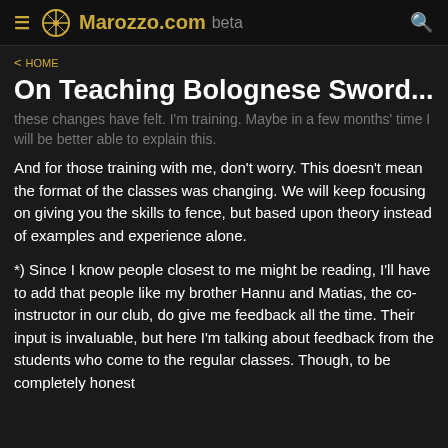Marozzo.com beta
< HOME
On Teaching Bolognese Sword...
these changes have felt. I'm training. Maybe in a few months' time I will be better able to explain this.
And for those training with me, don't worry. This doesn't mean the format of the classes was changing. We will keep focusing on giving you the skills to fence, but based upon theory instead of examples and experience alone.
*) Since I know people closest to me might be reading, I'll have to add that people like my brother Hannu and Matias, the co-instructor in our club, do give me feedback all the time. Their input is invaluable, but here I'm talking about feedback from the students who come to the regular classes. Though, to be completely honest